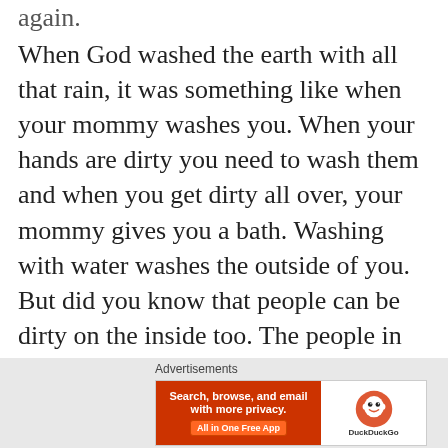again.
When God washed the earth with all that rain, it was something like when your mommy washes you. When your hands are dirty you need to wash them and when you get dirty all over, your mommy gives you a bath. Washing with water washes the outside of you. But did you know that people can be dirty on the inside too. The people in our story, who forgot God, were wicked and dirty on the inside. When people disobey God they are dirty on the inside. Water can only wash the outside. But God made a promise to send Jesus. Jesus can wash us on the inside.
[Figure (advertisement): DuckDuckGo advertisement banner: 'Search, browse, and email with more privacy. All in One Free App' with DuckDuckGo logo on the right side.]